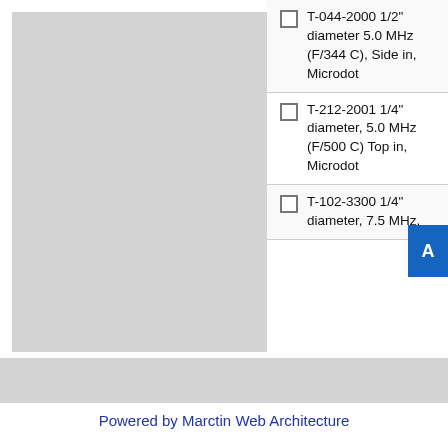[Figure (other): Gray left panel placeholder image area]
T-044-2000 1/2" diameter 5.0 MHz (F/344 C), Side in, Microdot
T-212-2001 1/4" diameter, 5.0 MHz (F/500 C) Top in, Microdot
T-102-3300 1/4" diameter, 7.5 MHz,
Powered by Marctin Web Architecture